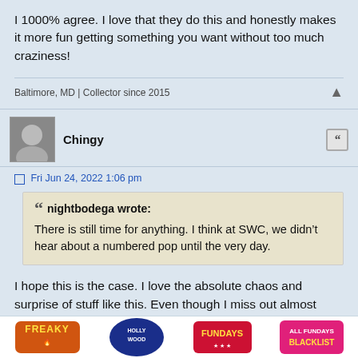I 1000% agree. I love that they do this and honestly makes it more fun getting something you want without too much craziness!
Baltimore, MD | Collector since 2015
Chingy
Fri Jun 24, 2022 1:06 pm
nightbodega wrote: There is still time for anything. I think at SWC, we didn't hear about a numbered pop until the very day.
I hope this is the case. I love the absolute chaos and surprise of stuff like this. Even though I miss out almost 100% of the time, it's so fun and unique when the unexpected happens.
[Figure (logo): Forum signature strip with colorful logos: Freaky, Hollywood, Fundays, Blacklist]